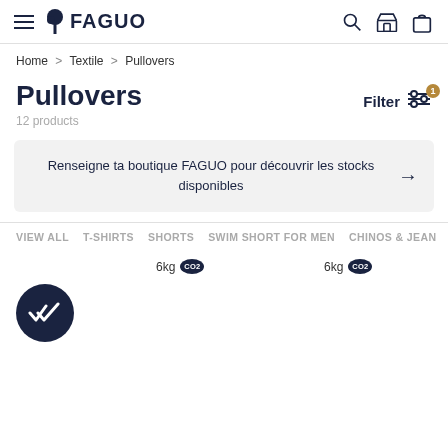[Figure (logo): FAGUO brand logo with tree icon and hamburger menu, search, store, and bag icons in header]
Home > Textile > Pullovers
Pullovers
12 products
Filter
Renseigne ta boutique FAGUO pour découvrir les stocks disponibles
VIEW ALL   T-SHIRTS   SHORTS   SWIM SHORT FOR MEN   CHINOS & JEAN
6kg CO2
6kg CO2
[Figure (illustration): Dark navy circle badge with double checkmark icon]